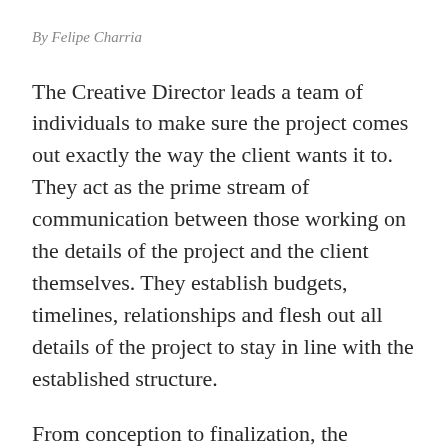By Felipe Charria
The Creative Director leads a team of individuals to make sure the project comes out exactly the way the client wants it to. They act as the prime stream of communication between those working on the details of the project and the client themselves. They establish budgets, timelines, relationships and flesh out all details of the project to stay in line with the established structure.
From conception to finalization, the Creative Director is the client’s right-hand man. They’re involved in the entire process of the project,